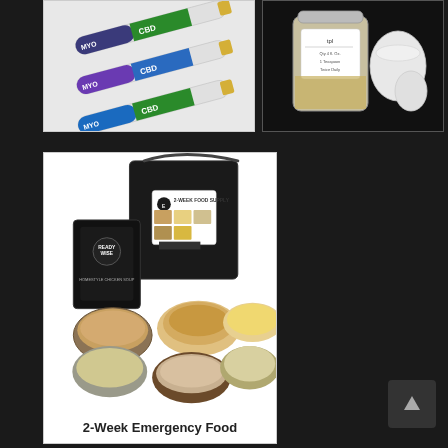[Figure (photo): Three CBD pre-roll tubes branded MYO with green cannabis leaf and CBD label, arranged diagonally on white background]
[Figure (photo): A clear plastic jar with a label from TPL company containing granular/grain substance, with white ceramic containers beside it, on dark background]
[Figure (photo): 2-Week Emergency Food supply kit showing a black bucket with ReadyWise branding, black food pouches, and six bowls of various prepared food items including pancakes, mac and cheese, oatmeal, soup, and rice dishes]
2-Week Emergency Food